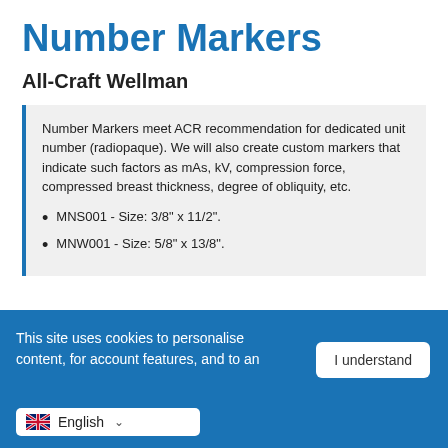Number Markers
All-Craft Wellman
Number Markers meet ACR recommendation for dedicated unit number (radiopaque). We will also create custom markers that indicate such factors as mAs, kV, compression force, compressed breast thickness, degree of obliquity, etc.
MNS001 - Size: 3/8" x 11/2".
MNW001 - Size: 5/8" x 13/8".
This site uses cookies to personalise content, for account features, and to an... I understand English